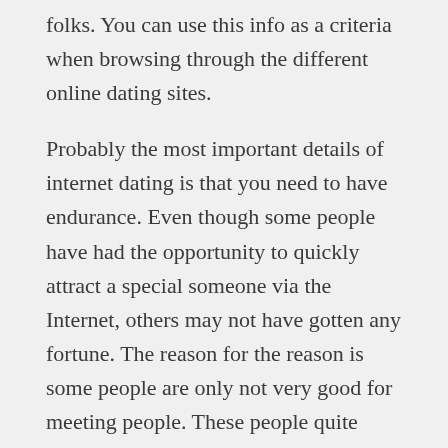folks. You can use this info as a criteria when browsing through the different online dating sites.
Probably the most important details of internet dating is that you need to have endurance. Even though some people have had the opportunity to quickly attract a special someone via the Internet, others may not have gotten any fortune. The reason for the reason is some people are only not very good for meeting people. These people quite often post things such as, “looking somebody to talk to” and “wants to meet. inches While the statements above can seem like an obvious red flag, take into account that the person might have drafted those